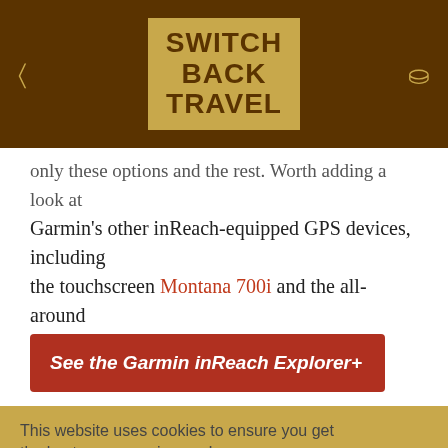SWITCH BACK TRAVEL
only these options and the rest. Worth adding a look at Garmin’s other inReach-equipped GPS devices, including the touchscreen Montana 700i and the all-around GPSMAP 66i.
See the Garmin inReach Explorer+
This website uses cookies to ensure you get the best user experience. Learn more
Got it!